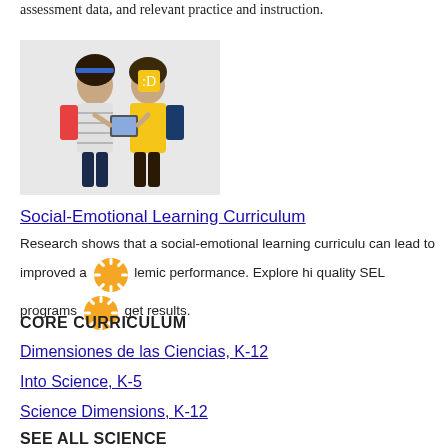assessment data, and relevant practice and instruction.
[Figure (photo): Two children with backpacks looking at a tablet together. One child wears a striped shirt, the other wears a yellow vest.]
Social-Emotional Learning Curriculum
Research shows that a social-emotional learning curriculum can lead to improved academic performance. Explore high-quality SEL programs to get results.
CORE CURRICULUM
Dimensiones de las Ciencias, K-12
Into Science, K-5
Science Dimensions, K-12
SEE ALL SCIENCE